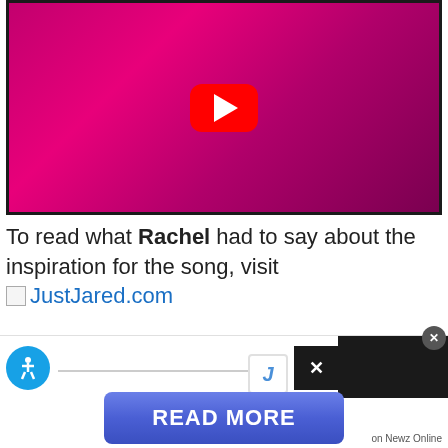[Figure (screenshot): YouTube video embed showing a woman with long blonde hair against a bright pink/magenta background, with the YouTube red play button in the center]
To read what Rachel had to say about the inspiration for the song, visit JustJared.com
[Figure (screenshot): Bottom UI bar with accessibility icon, divider line, J logo, close button, black box, READ MORE button and 'on Newz Online' label]